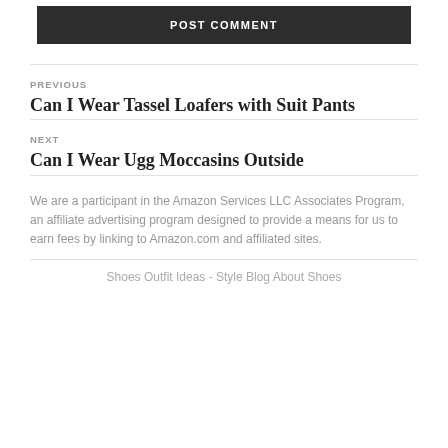POST COMMENT
PREVIOUS
Can I Wear Tassel Loafers with Suit Pants
NEXT
Can I Wear Ugg Moccasins Outside
We are a participant in the Amazon Services LLC Associates Program, an affiliate advertising program designed to provide a means for us to earn fees by linking to Amazon.com and affiliated sites.
Shoes Outfit Ideas - Style Blog About Shoes